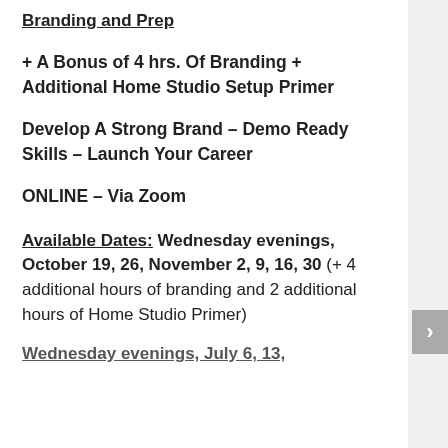Branding and Prep
+ A Bonus of 4 hrs. Of Branding + Additional Home Studio Setup Primer
Develop A Strong Brand – Demo Ready Skills – Launch Your Career
ONLINE – Via Zoom
Available Dates:  Wednesday evenings, October 19, 26, November 2, 9, 16, 30 (+ 4 additional hours of branding and 2 additional hours of Home Studio Primer)
Wednesday evenings, July 6, 13,